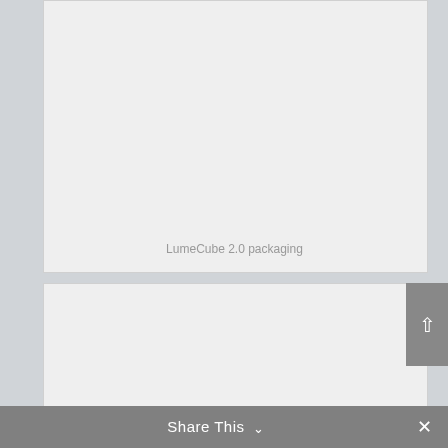[Figure (photo): LumeCube 2.0 packaging image placeholder — light gray rectangle]
LumeCube 2.0 packaging
[Figure (photo): Second image placeholder — light gray rectangle]
Share This ∨  ✕